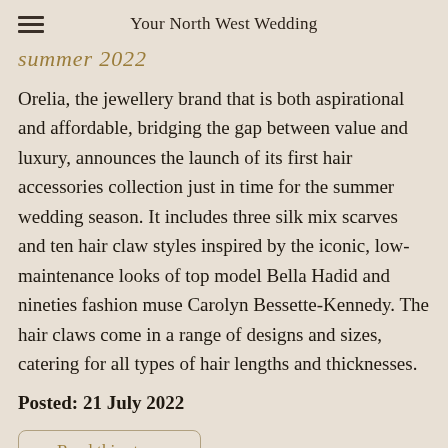Your North West Wedding
summer 2022
Orelia, the jewellery brand that is both aspirational and affordable, bridging the gap between value and luxury, announces the launch of its first hair accessories collection just in time for the summer wedding season. It includes three silk mix scarves and ten hair claw styles inspired by the iconic, low-maintenance looks of top model Bella Hadid and nineties fashion muse Carolyn Bessette-Kennedy. The hair claws come in a range of designs and sizes, catering for all types of hair lengths and thicknesses.
Posted: 21 July 2022
Read this story